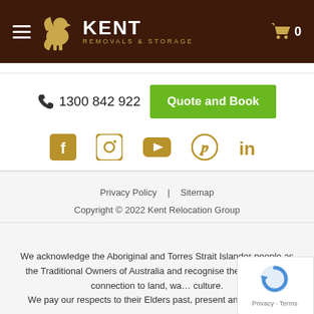[Figure (logo): Kent Removals & Storage logo with golden griffin mascot on dark brown header background]
1300 842 922
Quote and Book
[Figure (illustration): Social media icons row: Facebook, Instagram, YouTube, Pinterest, LinkedIn — all in golden/tan color]
Privacy Policy  |  Sitemap
Copyright © 2022 Kent Relocation Group
We acknowledge the Aboriginal and Torres Strait Islander people as the Traditional Owners of Australia and recognise their continuing connection to land, wa... culture.
We pay our respects to their Elders past, present and emerging.